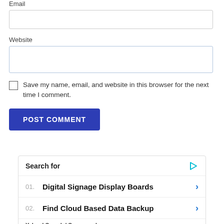Email
[Figure (screenshot): Email input text field (empty, with border)]
Website
[Figure (screenshot): Website input text field (empty, with border)]
Save my name, email, and website in this browser for the next time I comment.
[Figure (screenshot): POST COMMENT button in dark blue]
Search for
01.  Digital Signage Display Boards
02.  Find Cloud Based Data Backup
Yahoo! Search | Sponsored